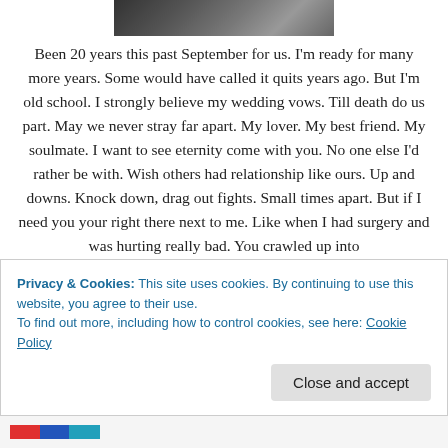[Figure (photo): Partial photo strip at top of page, dark/shadowed image]
Been 20 years this past September for us. I'm ready for many more years. Some would have called it quits years ago. But I'm old school. I strongly believe my wedding vows. Till death do us part. May we never stray far apart. My lover. My best friend. My soulmate. I want to see eternity come with you. No one else I'd rather be with. Wish others had relationship like ours. Up and downs. Knock down, drag out fights. Small times apart. But if I need you your right there next to me. Like when I had surgery and was hurting really bad. You crawled up into
Privacy & Cookies: This site uses cookies. By continuing to use this website, you agree to their use.
To find out more, including how to control cookies, see here: Cookie Policy
Close and accept